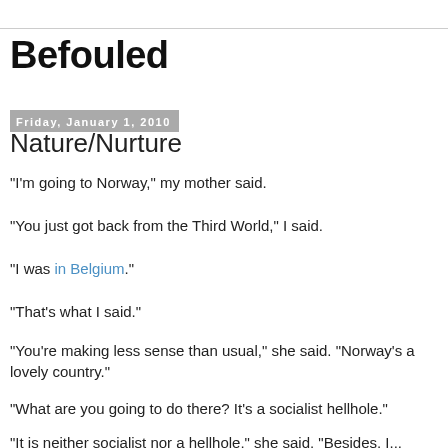Befouled
Friday, January 1, 2010
Nature/Nurture
"I'm going to Norway," my mother said.
"You just got back from the Third World," I said.
"I was in Belgium."
"That's what I said."
"You're making less sense than usual," she said. "Norway's a lovely country."
"What are you going to do there? It's a socialist hellhole."
"It is neither socialist nor a hellhole," she said. "Besides, I..."